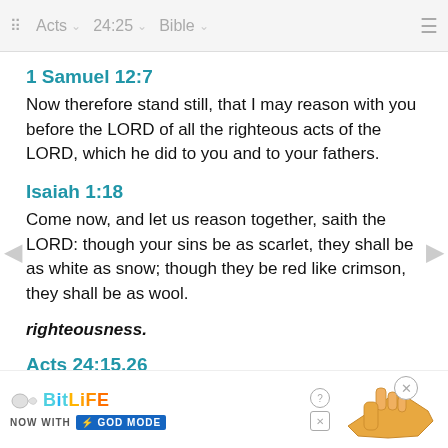Acts  24:25  Bible
1 Samuel 12:7
Now therefore stand still, that I may reason with you before the LORD of all the righteous acts of the LORD, which he did to you and to your fathers.
Isaiah 1:18
Come now, and let us reason together, saith the LORD: though your sins be as scarlet, they shall be as white as snow; though they be red like crimson, they shall be as wool.
righteousness.
Acts 24:15,26
And have hope toward God, which they themselves also a...he dead,
[Figure (screenshot): BitLife advertisement banner with 'NOW WITH GOD MODE' text and cartoon hand pointing right]